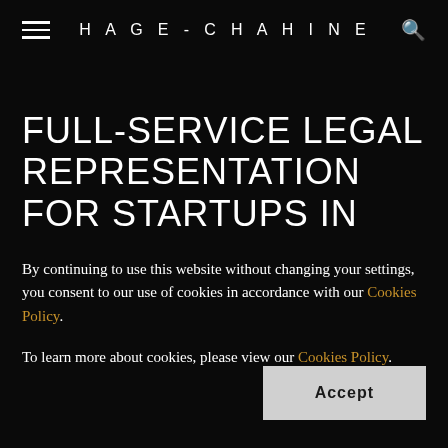HAGE-CHAHINE
FULL-SERVICE LEGAL REPRESENTATION FOR STARTUPS IN
By continuing to use this website without changing your settings, you consent to our use of cookies in accordance with our Cookies Policy.
To learn more about cookies, please view our Cookies Policy.
Accept